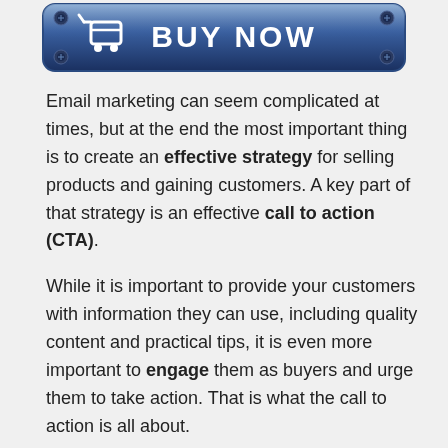[Figure (illustration): A blue metallic 'BUY NOW' button with a shopping cart icon on the left, styled with a glossy gradient and screws at the corners.]
Email marketing can seem complicated at times, but at the end the most important thing is to create an effective strategy for selling products and gaining customers. A key part of that strategy is an effective call to action (CTA).
While it is important to provide your customers with information they can use, including quality content and practical tips, it is even more important to engage them as buyers and urge them to take action. That is what the call to action is all about.
The call to action can take many forms. Some examples include:
Call 1-800-000-1111 to place your order today!